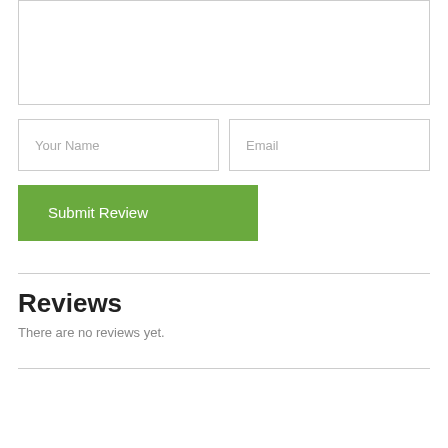[Figure (screenshot): A textarea input box for writing a review, empty, with a thin gray border.]
[Figure (screenshot): Two side-by-side input fields: 'Your Name' and 'Email', each with a thin gray border and gray placeholder text.]
[Figure (screenshot): A green 'Submit Review' button with white text.]
Reviews
There are no reviews yet.